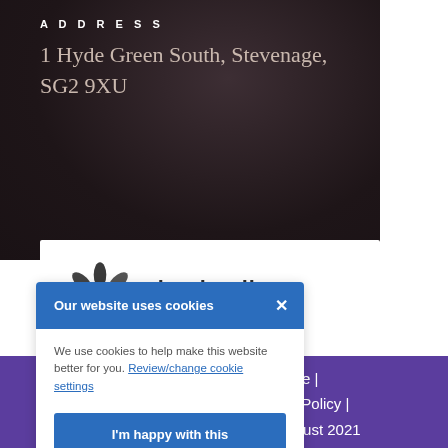ADDRESS
1 Hyde Green South, Stevenage, SG2 9XU
[Figure (logo): Invisalign Provider logo with snowflake/flower graphic mark and text 'invisalign PROVIDER']
Our website uses cookies
We use cookies to help make this website better for you. Review/change cookie settings
I'm happy with this
| Practice | Privacy Policy | ted: August 2021